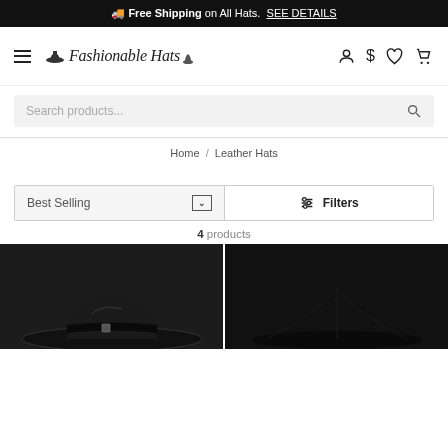Free Shipping on All Hats. SEE DETAILS
[Figure (logo): Fashionable Hats logo with top hat icon]
Search products...
Home / Leather Hats
Best Selling
Filters
4 products
[Figure (photo): Two black leather hats shown from above on dark background]